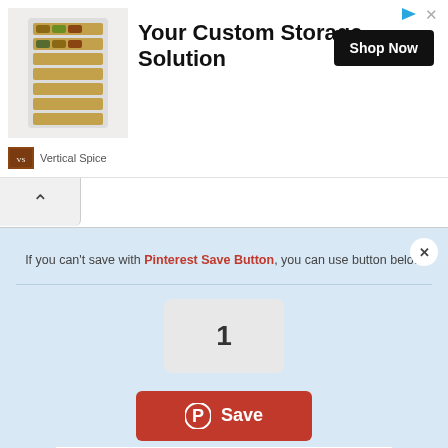[Figure (screenshot): Advertisement banner for Vertical Spice custom storage solution showing a spice rack product image, bold headline, and Shop Now button]
Your Custom Storage Solution
Shop Now
Vertical Spice
[Figure (screenshot): Pinterest save popup panel with message: If you can't save with Pinterest Save Button, you can use button below. Shows count box with number 1 and a red Save button with Pinterest logo.]
If you can't save with Pinterest Save Button, you can use button below
1
Save